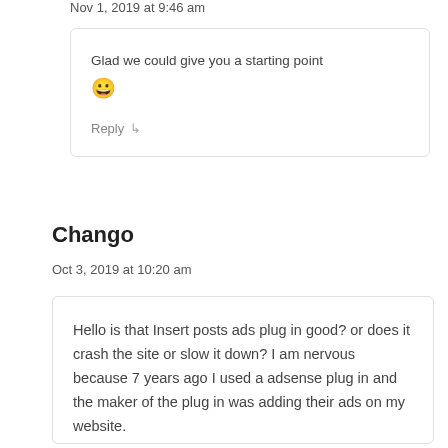Nov 1, 2019 at 9:46 am
Glad we could give you a starting point 😀
Reply ↳
Chango
Oct 3, 2019 at 10:20 am
Hello is that Insert posts ads plug in good? or does it crash the site or slow it down? I am nervous because 7 years ago I used a adsense plug in and the maker of the plug in was adding their ads on my website.